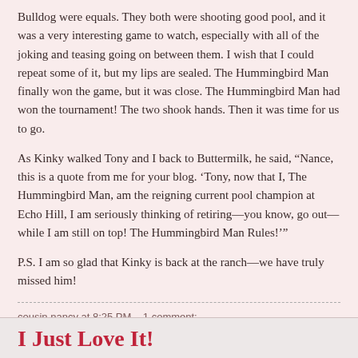Bulldog were equals. They both were shooting good pool, and it was a very interesting game to watch, especially with all of the joking and teasing going on between them. I wish that I could repeat some of it, but my lips are sealed. The Hummingbird Man finally won the game, but it was close. The Hummingbird Man had won the tournament! The two shook hands. Then it was time for us to go.
As Kinky walked Tony and I back to Buttermilk, he said, “Nance, this is a quote from me for your blog. ‘Tony, now that I, The Hummingbird Man, am the reigning current pool champion at Echo Hill, I am seriously thinking of retiring—you know, go out—while I am still on top! The Hummingbird Man Rules!’”
P.S. I am so glad that Kinky is back at the ranch—we have truly missed him!
cousin nancy at 8:25 PM    1 comment:
I Just Love It!